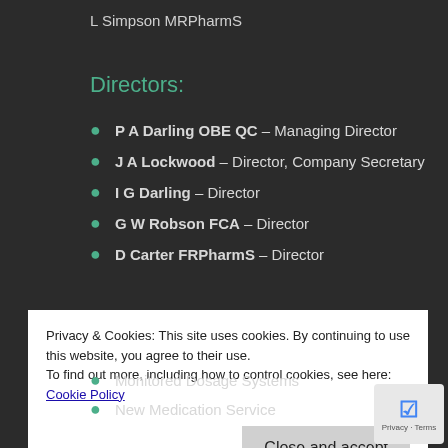L Simpson MRPharmS
Directors:
P A Darling OBE QC – Managing Director
J A Lockwood – Director, Company Secretary
I G Darling – Director
G W Robson FCA – Director
D Carter FRPharmS – Director
Privacy & Cookies: This site uses cookies. By continuing to use this website, you agree to their use.
To find out more, including how to control cookies, see here: Cookie Policy
Monitored Dosage Systems
New Medication Service